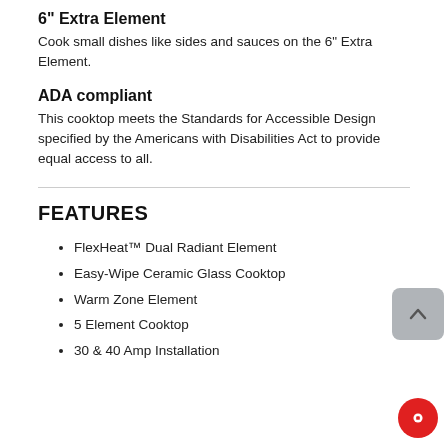6" Extra Element
Cook small dishes like sides and sauces on the 6" Extra Element.
ADA compliant
This cooktop meets the Standards for Accessible Design specified by the Americans with Disabilities Act to provide equal access to all.
FEATURES
FlexHeat™ Dual Radiant Element
Easy-Wipe Ceramic Glass Cooktop
Warm Zone Element
5 Element Cooktop
30 & 40 Amp Installation